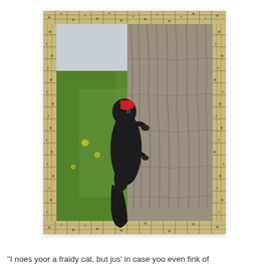[Figure (photo): A black squirrel wearing a tiny red hat or mask, clinging to the side of a tree trunk. Green grass is visible in the background. The photo is framed with a decorative bamboo/nature-themed border with a white outer mat.]
"I noes yoor a fraidy cat, but jus' in case yoo even fink of